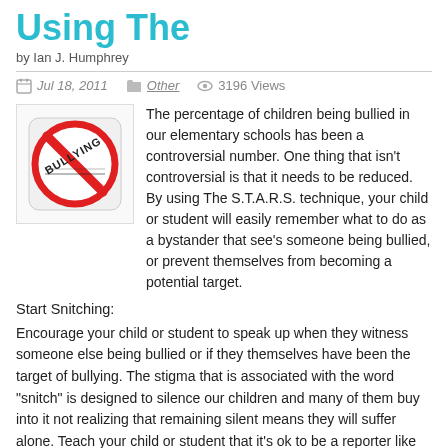Using The
by Ian J. Humphrey
Jul 18, 2011   Other   3196 Views
[Figure (illustration): No bullying sign — a red circle with a slash over the word BULLYING in black stamp-like text on a white rounded square background]
The percentage of children being bullied in our elementary schools has been a controversial number. One thing that isn't controversial is that it needs to be reduced. By using The S.T.A.R.S. technique, your child or student will easily remember what to do as a bystander that see's someone being bullied, or prevent themselves from becoming a potential target.
Start Snitching:
Encourage your child or student to speak up when they witness someone else being bullied or if they themselves have been the target of bullying. The stigma that is associated with the word "snitch" is designed to silence our children and many of them buy into it not realizing that remaining silent means they will suffer alone. Teach your child or student that it's ok to be a reporter like the ones they see on the news. Schools should have a system in place for a student to report bullying anonymously. Know what